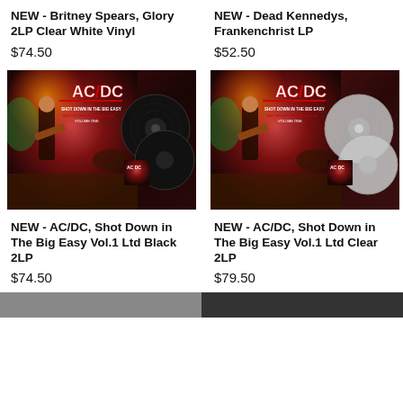NEW - Britney Spears, Glory 2LP Clear White Vinyl
$74.50
NEW - Dead Kennedys, Frankenchrist LP
$52.50
[Figure (photo): AC/DC Shot Down in the Big Easy Vol.1 album cover with black vinyl records]
[Figure (photo): AC/DC Shot Down in the Big Easy Vol.1 album cover with clear/grey vinyl records]
NEW - AC/DC, Shot Down in The Big Easy Vol.1 Ltd Black 2LP
$74.50
NEW - AC/DC, Shot Down in The Big Easy Vol.1 Ltd Clear 2LP
$79.50